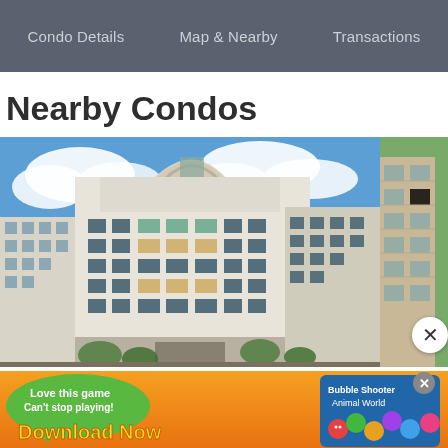Condo Details   Map & Nearby   Transactions
Nearby Condos
[Figure (photo): Exterior photo of a tall white luxury condominium building with ornate facade, multiple floors with balconies, blue sky with clouds in background]
[Figure (photo): Partial view of another nearby condominium building, tan/cream colored facade with balconies]
[Figure (screenshot): Mobile advertisement banner: 'Love this game Can't stop playing! Download Now' with Bubble Shooter Animal World game imagery, colorful bubbles and cartoon animals]